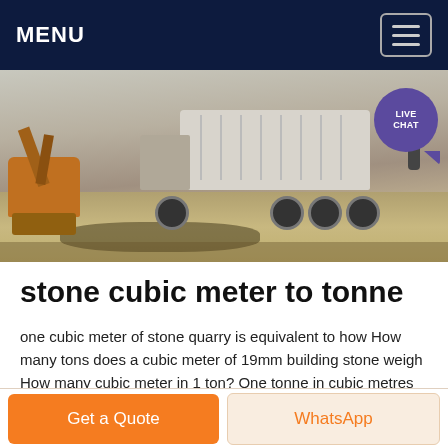MENU
[Figure (photo): A construction site with a large dump truck being loaded, an excavator on the left, dusty gravel terrain, with a LIVE CHAT bubble overlay in the upper right]
stone cubic meter to tonne
one cubic meter of stone quarry is equivalent to how How many tons does a cubic meter of 19mm building stone weigh How many cubic meter in 1 ton? One tonne in cubic metres is equal to 2831684659 cubic 1 person Chat Online What is 1 ton in cubic meters? | Reference
Get a Quote
WhatsApp